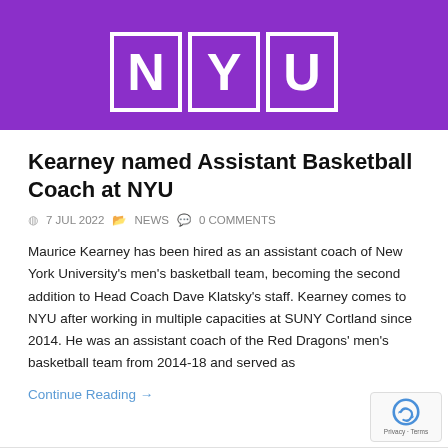[Figure (logo): NYU purple banner header with large letter blocks N, Y, U in white on purple background]
Kearney named Assistant Basketball Coach at NYU
7 JUL 2022  NEWS  0 COMMENTS
Maurice Kearney has been hired as an assistant coach of New York University's men's basketball team, becoming the second addition to Head Coach Dave Klatsky's staff. Kearney comes to NYU after working in multiple capacities at SUNY Cortland since 2014. He was an assistant coach of the Red Dragons' men's basketball team from 2014-18 and served as
Continue Reading →